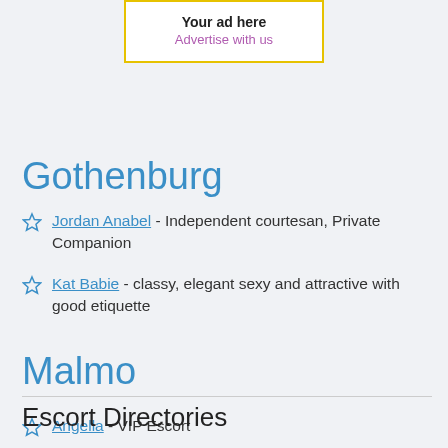[Figure (other): Advertisement box with yellow border. Text: 'Your ad here' in bold, 'Advertise with us' in purple below.]
Gothenburg
Jordan Anabel - Independent courtesan, Private Companion
Kat Babie - classy, elegant sexy and attractive with good etiquette
Malmo
Angella - VIP Escort
Escort Directories